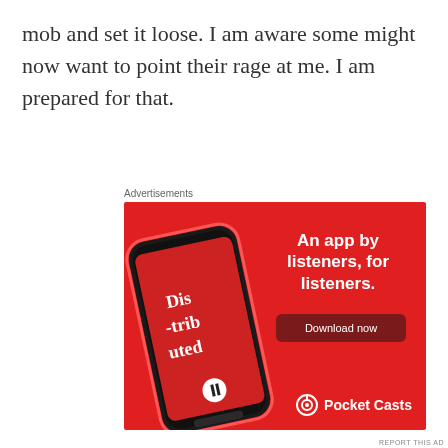mob and set it loose. I am aware some might now want to point their rage at me. I am prepared for that.
Advertisements
[Figure (photo): Pocket Casts app advertisement on red background showing a smartphone with podcast 'Dis-trib-uted' playing. Text reads 'An app by listeners, for listeners.' with a 'Download now' button and Pocket Casts logo.]
REPORT THIS AD